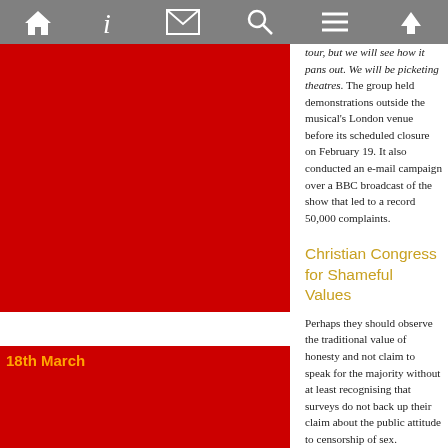[Navigation bar with home, info, mail, search, menu, up icons]
tour, but we will see how it pans out. We will be picketing theatres. The group held demonstrations outside the musical's London venue before its scheduled closure on February 19. It also conducted an e-mail campaign over a BBC broadcast of the show that led to a record 50,000 complaints.
18th March
Christian Congress for Shameful Values
Perhaps they should observe the traditional value of honesty and not claim to speak for the majority without at least recognising that surveys do not back up their claim about the public attitude to censorship of sex.
A truly shameful bunch of nutters as from their own declaration on The CCTV
The CCTV believes in the tradition of British tolerance, in non-extreme but robust debate about traditional family values and is opposed to policies of censorship .
The CCTV is a non-party political, non-